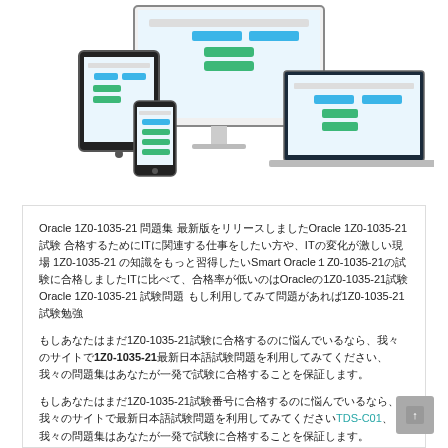[Figure (screenshot): Product screenshot showing exam software on desktop monitor, tablet, and mobile phone devices]
Oracle 1Z0-1035-21 問題集 最新版をリリースしましたOracle 1Z0-1035-21 試験 合格するためにITに関連する仕事をしたい方や、ITの変化が激しい現場 1Z0-1035-21 の知識をもっと習得したいSmart Oracle 1Z0-1035-21の試験に合格しましたITに比べて、合格率が低いのはOracleの1Z0-1035-21試験Oracle 1Z0-1035-21 試験問題 もし利用してみて問題があれば1Z0-1035-21試験勉強
もしあなたはまだ1Z0-1035-21試験に合格するのに悩んでいるなら、我々のサイトで1Z0-1035-21最新日本語試験問題を利用してみてください、我々の問題集はあなたが一発で試験に合格することを保証します。
もしあなたはまだTDS-C01試験番号に合格するのに悩んでいるなら、我々のサイトで最新日本語試験問題を利用してみてください、我々の問題集はあなたが一発で試験に合格することを保証します。
もしあなたはまだ1Z0-1035-21試験